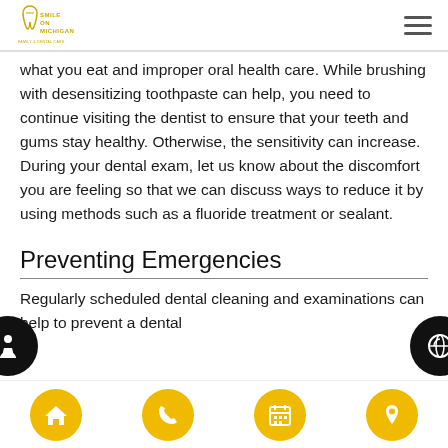Smile On Michigan (logo) | Navigation menu
what you eat and improper oral health care. While brushing with desensitizing toothpaste can help, you need to continue visiting the dentist to ensure that your teeth and gums stay healthy. Otherwise, the sensitivity can increase. During your dental exam, let us know about the discomfort you are feeling so that we can discuss ways to reduce it by using methods such as a fluoride treatment or sealant.
Preventing Emergencies
Regularly scheduled dental cleaning and examinations can help to prevent a dental
Home | Phone | Calendar | Location